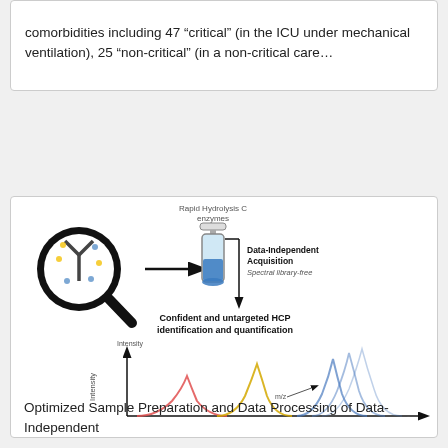comorbidities including 47 “critical” (in the ICU under mechanical ventilation), 25 “non-critical” (in a non-critical care…
[Figure (schematic): Scientific workflow diagram showing: (1) a magnifying glass icon with antibody/Y-shape inside, arrow pointing to a test tube with blue liquid labeled 'Rapid Hydrolysis C enzymes', then arrow down to 'Data-Independent Acquisition / Spectral library-free'; (2) text 'Confident and untargeted HCP identification and quantification'; (3) a spectral graph with Intensity y-axis and m/z x-axis showing overlapping peaks in red, yellow, and blue.]
Optimized Sample Preparation and Data Processing of Data-Independent